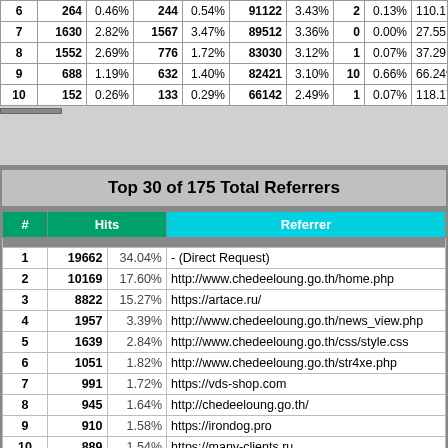| # | Hits | % | Hits | % | Hits | % | Hits | % | IP |
| --- | --- | --- | --- | --- | --- | --- | --- | --- | --- |
| 6 | 264 | 0.46% | 244 | 0.54% | 91122 | 3.43% | 2 | 0.13% | 110.172.0... |
| 7 | 1630 | 2.82% | 1567 | 3.47% | 89512 | 3.36% | 0 | 0.00% | 27.55.76.2... |
| 8 | 1552 | 2.69% | 776 | 1.72% | 83030 | 3.12% | 1 | 0.07% | 37.29.40.1... |
| 9 | 688 | 1.19% | 632 | 1.40% | 82421 | 3.10% | 10 | 0.66% | 66.249.79.... |
| 10 | 152 | 0.26% | 133 | 0.29% | 66142 | 2.49% | 1 | 0.07% | 118.172.86... |
| # | Hits | % | Referrer |
| --- | --- | --- | --- |
| 1 | 19662 | 34.04% | - (Direct Request) |
| 2 | 10169 | 17.60% | http://www.chedeeloung.go.th/home.php |
| 3 | 8822 | 15.27% | https://artace.ru/ |
| 4 | 1957 | 3.39% | http://www.chedeeloung.go.th/news_view.php |
| 5 | 1639 | 2.84% | http://www.chedeeloung.go.th/css/style.css |
| 6 | 1051 | 1.82% | http://www.chedeeloung.go.th/str4xe.php |
| 7 | 991 | 1.72% | https://vds-shop.com |
| 8 | 945 | 1.64% | http://chedeeloung.go.th/ |
| 9 | 910 | 1.58% | https://irondog.pro |
| 10 | 889 | 1.54% | https://many-clients.ru |
| 11 | 816 | 1.41% | https://artace.ru |
| 12 | 796 | 1.38% | http://www.chedeeloung.go.th/about.php |
| 13 | 795 | 1.38% | http://chedeeloung.go.th/home.php |